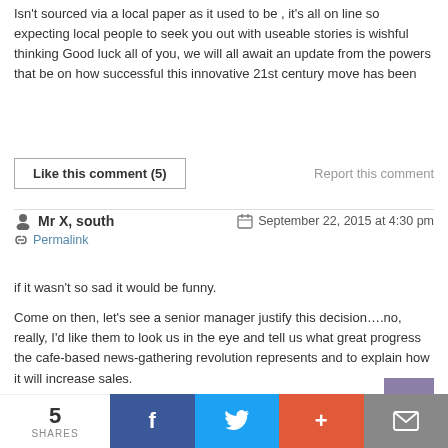Isn't sourced via a local paper as it used to be , it's all on line so expecting local people to seek you out with useable stories is wishful thinking Good luck all of you, we will all await an update from the powers that be on how successful this innovative 21st century move has been
Like this comment (5)
Report this comment
Mr X, south
September 22, 2015 at 4:30 pm
Permalink
if it wasn't so sad it would be funny.
Come on then, let's see a senior manager justify this decision….no, really, I'd like them to look us in the eye and tell us what great progress the cafe-based news-gathering revolution represents and to explain how it will increase sales.
This idea is straight out of a sitcom.
An ITV one.
5 SHARES